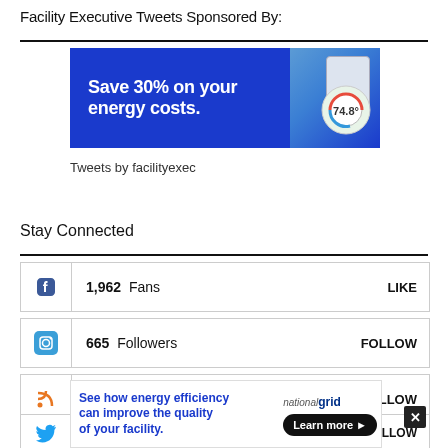Facility Executive Tweets Sponsored By:
[Figure (infographic): Blue advertisement banner: 'Save 30% on your energy costs.' with a thermostat graphic and phone screenshot on the right side]
Tweets by facilityexec
Stay Connected
1,962  Fans  LIKE (Facebook)
665  Followers  FOLLOW (Instagram)
40,000  Followers  FOLLOW (RSS)
9,463  Followers  FOLLOW (Twitter)
[Figure (infographic): Bottom advertisement: 'See how energy efficiency can improve the quality of your facility.' National Grid - Learn more button. Overlaid with X close button.]